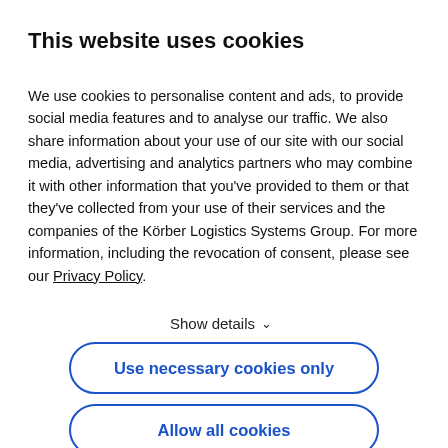This website uses cookies
We use cookies to personalise content and ads, to provide social media features and to analyse our traffic. We also share information about your use of our site with our social media, advertising and analytics partners who may combine it with other information that you've provided to them or that they've collected from your use of their services and the companies of the Körber Logistics Systems Group. For more information, including the revocation of consent, please see our Privacy Policy.
Show details ∨
Use necessary cookies only
Allow all cookies
pseudonymized data with personal information from your CRM profile if you have sent us an